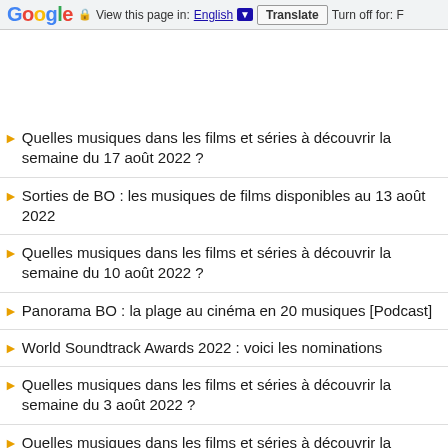Google  View this page in: English ▼  Translate  Turn off for: F
Quelles musiques dans les films et séries à découvrir la semaine du 17 août 2022 ?
Sorties de BO : les musiques de films disponibles au 13 août 2022
Quelles musiques dans les films et séries à découvrir la semaine du 10 août 2022 ?
Panorama BO : la plage au cinéma en 20 musiques [Podcast]
World Soundtrack Awards 2022 : voici les nominations
Quelles musiques dans les films et séries à découvrir la semaine du 3 août 2022 ?
Quelles musiques dans les films et séries à découvrir la semaine du 27 juillet 2022 ?